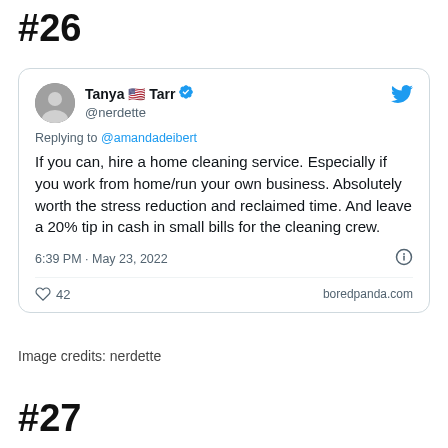#26
[Figure (screenshot): Screenshot of a tweet by Tanya Tarr (@nerdette) replying to @amandadeibert. The tweet reads: 'If you can, hire a home cleaning service. Especially if you work from home/run your own business. Absolutely worth the stress reduction and reclaimed time. And leave a 20% tip in cash in small bills for the cleaning crew.' Posted at 6:39 PM · May 23, 2022. 42 likes. Sourced from boredpanda.com.]
Image credits: nerdette
#27